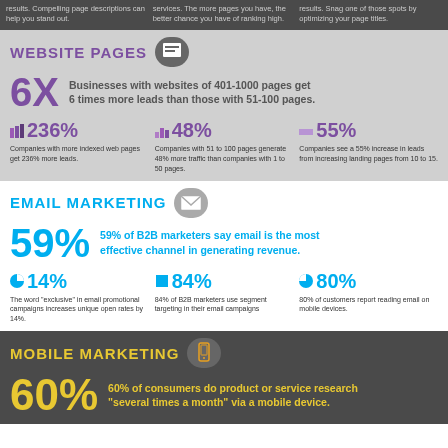results. Compelling page descriptions can help you stand out.
services. The more pages you have, the better chance you have of ranking high.
results. Snag one of those spots by optimizing your page titles.
WEBSITE PAGES
6X Businesses with websites of 401-1000 pages get 6 times more leads than those with 51-100 pages.
236% Companies with more indexed web pages get 236% more leads.
48% Companies with 51 to 100 pages generate 48% more traffic than companies with 1 to 50 pages.
55% Companies see a 55% increase in leads from increasing landing pages from 10 to 15.
EMAIL MARKETING
59% 59% of B2B marketers say email is the most effective channel in generating revenue.
14% The word "exclusive" in email promotional campaigns increases unique open rates by 14%.
84% 84% of B2B marketers use segment targeting in their email campaigns
80% 80% of customers report reading email on mobile devices.
MOBILE MARKETING
60% 60% of consumers do product or service research "several times a month" via a mobile device.